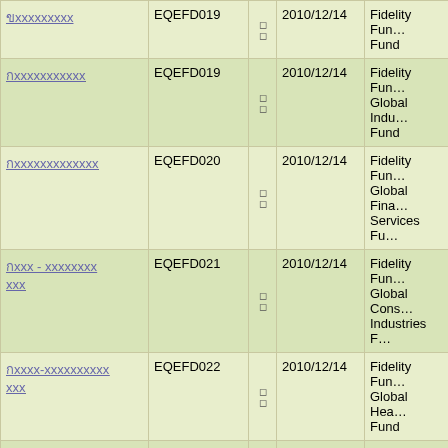| Fund Name (Thai) | Code | Type | Date | Fund Name (English) |
| --- | --- | --- | --- | --- |
| (partial top) | EQEFD019 |  | 2010/12/14 | Fidelity Funds Global Industrial Fund |
| (Thai) | EQEFD019 |  | 2010/12/14 | Fidelity Funds Global Industrial Fund |
| (Thai) | EQEFD020 |  | 2010/12/14 | Fidelity Funds Global Financial Services Fund |
| (Thai) | EQEFD021 |  | 2010/12/14 | Fidelity Funds Global Consumer Industries Fund |
| (Thai) | EQEFD022 |  | 2010/12/14 | Fidelity Funds Global Healthcare Fund |
| (Thai) | EQEFD023 |  | 2010/12/14 | Fidelity Funds Global Telecommunications Fund |
| (Thai) | EQEFD025 |  | 2010/12/14 | Fidelity Funds Italy Fund |
| (Thai) | EQEFD026 |  | 2010/12/14 | Fidelity Funds Germany Fund |
| (partial bottom) |  |  |  | Fidelity Funds... |